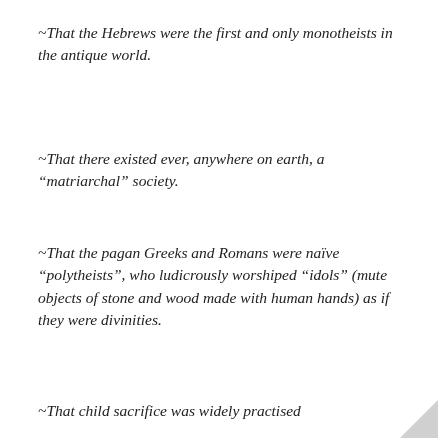~That the Hebrews were the first and only monotheists in the antique world.
~That there existed ever, anywhere on earth, a “matriarchal” society.
~That the pagan Greeks and Romans were naïve “polytheists”, who ludicrously worshiped “idols” (mute objects of stone and wood made with human hands) as if they were divinities.
~That child sacrifice was widely practised